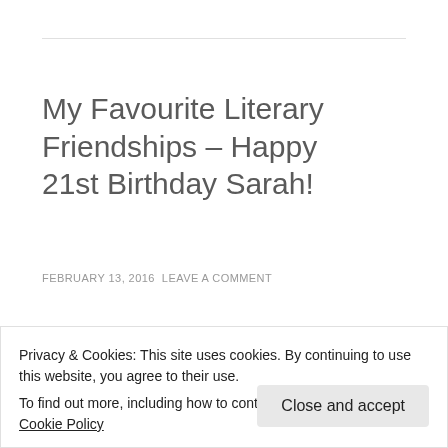My Favourite Literary Friendships – Happy 21st Birthday Sarah!
FEBRUARY 13, 2016 LEAVE A COMMENT
[Figure (illustration): Two sunflower emojis flanking the handwritten word 'Chat' in the center, forming a decorative banner image]
Privacy & Cookies: This site uses cookies. By continuing to use this website, you agree to their use. To find out more, including how to control cookies, see here: Cookie Policy
Close and accept